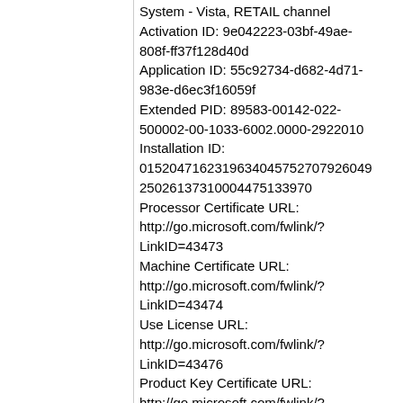System - Vista, RETAIL channel
Activation ID: 9e042223-03bf-49ae-808f-ff37f128d40d
Application ID: 55c92734-d682-4d71-983e-d6ec3f16059f
Extended PID: 89583-00142-022-500002-00-1033-6002.0000-2922010
Installation ID: 01520471623196340457527079260492502613731000447513397 0
Processor Certificate URL: http://go.microsoft.com/fwlink/?LinkID=43473
Machine Certificate URL: http://go.microsoft.com/fwlink/?LinkID=43474
Use License URL: http://go.microsoft.com/fwlink/?LinkID=43476
Product Key Certificate URL: http://go.microsoft.com/fwlink/?LinkID=43475
Partial Product Key: 76PKF
License Status: Notification
Notification Reason: 0xC004F009 (grace time expired).

Windows Activation Technologies-->